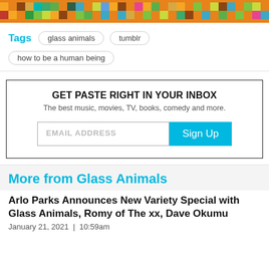[Figure (illustration): Colorful pixelated banner strip with orange, teal, yellow, green, brown, and pink squares arranged in a mosaic pattern across the full width.]
Tags    glass animals    tumblr    how to be a human being
GET PASTE RIGHT IN YOUR INBOX
The best music, movies, TV, books, comedy and more.
EMAIL ADDRESS   Sign Up
More from Glass Animals
Arlo Parks Announces New Variety Special with Glass Animals, Romy of The xx, Dave Okumu
January 21, 2021  |  10:59am